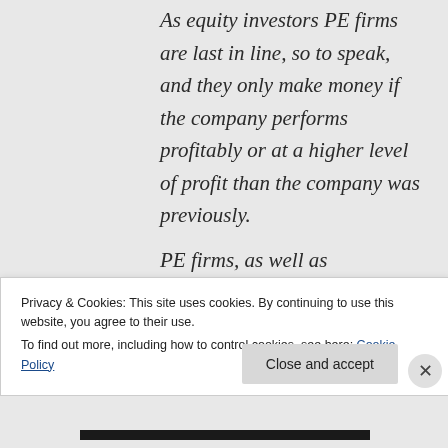As equity investors PE firms are last in line, so to speak, and they only make money if the company performs profitably or at a higher level of profit than the company was previously. PE firms, as well as
Privacy & Cookies: This site uses cookies. By continuing to use this website, you agree to their use.
To find out more, including how to control cookies, see here: Cookie Policy